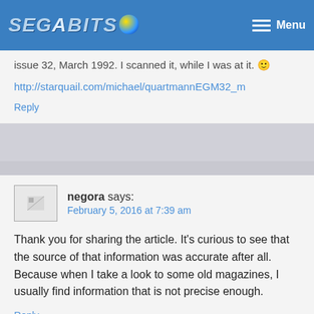SEGABITS — Menu
I was digging through the ol' magazine box as I finished that post! It's EGM issue 32, March 1992. I scanned it, while I was at it. 🙂
http://starquail.com/michael/quartmannEGM32_m
Reply
negora says:
February 5, 2016 at 7:39 am
Thank you for sharing the article. It's curious to see that the source of that information was accurate after all. Because when I take a look to some old magazines, I usually find information that is not precise enough.
Reply